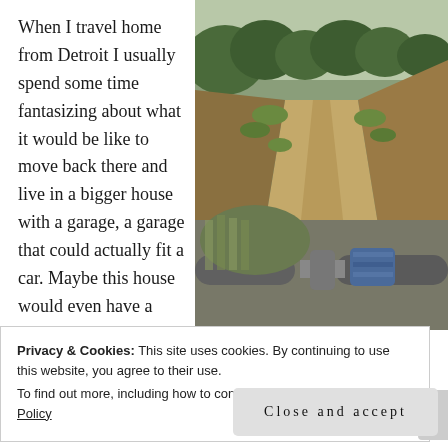When I travel home from Detroit I usually spend some time fantasizing about what it would be like to move back there and live in a bigger house with a garage, a garage that could actually fit a car. Maybe this house would even have a
[Figure (photo): A dirt trail path viewed from the perspective of a bicycle rider, showing handlebars with cloth wrapped around them, surrounded by dry scrubby hillside terrain with trees in the background.]
Privacy & Cookies: This site uses cookies. By continuing to use this website, you agree to their use.
To find out more, including how to control cookies, see here: Cookie Policy
Close and accept